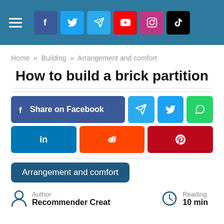Navigation header with hamburger menu and social media icons: Facebook, Twitter, Telegram, YouTube, Instagram, TikTok
Home » Building » Arrangement and comfort
How to build a brick partition
[Figure (infographic): Social sharing buttons: Share on Facebook, Telegram, Twitter, WhatsApp, LinkedIn, Reddit, Pinterest]
Arrangement and comfort
Author
Recommender Creat
Reading
10 min